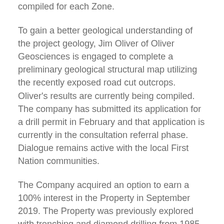compiled for each Zone.
To gain a better geological understanding of the project geology, Jim Oliver of Oliver Geosciences is engaged to complete a preliminary geological structural map utilizing the recently exposed road cut outcrops. Oliver's results are currently being compiled. The company has submitted its application for a drill permit in February and that application is currently in the consultation referral phase. Dialogue remains active with the local First Nation communities.
The Company acquired an option to earn a 100% interest in the Property in September 2019. The Property was previously explored with trenching and diamond drilling from 1985 through 2008. The last program of drilling in 2008 targeted the Imperial Zone and returned highlight drill intersection widths including 13.30 gpt gold over 4.20 m (est 1.8m true width).